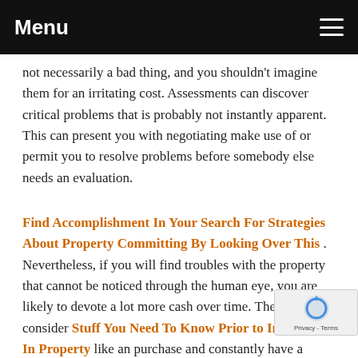Menu
not necessarily a bad thing, and you shouldn't imagine them for an irritating cost. Assessments can discover critical problems that is probably not instantly apparent. This can present you with negotiating make use of or permit you to resolve problems before somebody else needs an evaluation.
Find Accomplishment In Your Search For Strategies About Property Committing By Looking Over This
. Nevertheless, if you will find troubles with the property that cannot be noticed through the human eye, you are likely to devote a lot more cash over time. Therefore, consider Stuff You Need To Know Prior to Investing In Property like an purchase and constantly have a single carried out ahead of investing in a residence. It might not uncover nearly anything, there is however constantly the possibility that there can be